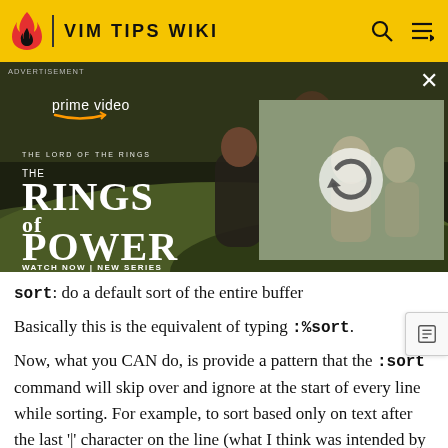VIM TIPS WIKI
[Figure (screenshot): Amazon Prime Video advertisement for 'The Lord of the Rings: The Rings of Power' showing two characters and a partially loaded right panel with a reload icon.]
sort: do a default sort of the entire buffer
Basically this is the equivalent of typing :%sort.
Now, what you CAN do, is provide a pattern that the :sort command will skip over and ignore at the start of every line while sorting. For example, to sort based only on text after the last '|' character on the line (what I think was intended by the example), you'd do this: